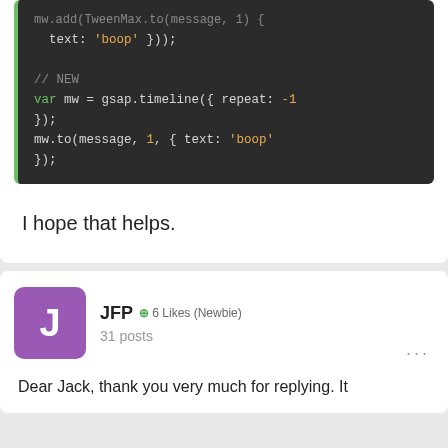[Figure (screenshot): Code block showing JavaScript GSAP animation code with syntax highlighting on dark background. Shows: text: 'boop' })); // NEW var mw = gsap.timeline({ repeat: -1 }); mw.to(message, 1, { text: 'boop' });]
I hope that helps.
JFP  6 Likes (Newbie)  31 posts
Dear Jack, thank you very much for replying. It